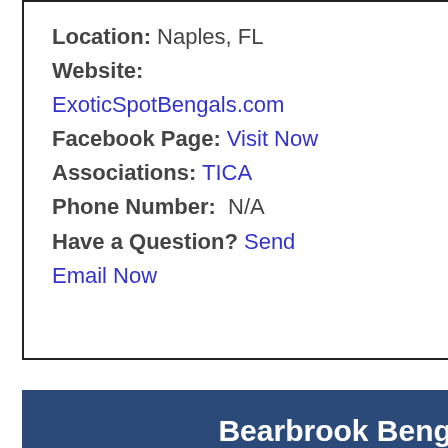Location: Naples, FL
Website: ExoticSpotBengals.com
Facebook Page: Visit Now
Associations: TICA
Phone Number: N/A
Have a Question? Send Email Now
Bearbrook Bengals
Has This Breeder Been Bengal Cat Club